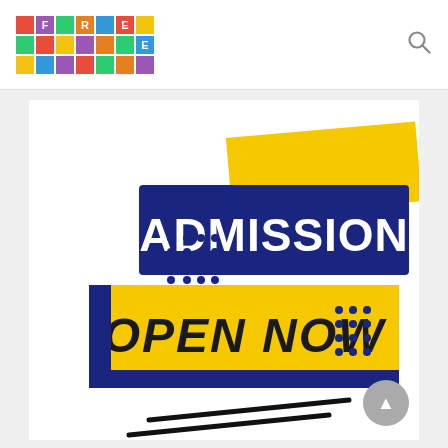FREE
[Figure (illustration): Admission Open Now graphic with navy blue and yellow banners, dot patterns, and diagonal black lines. Text reads ADMISSION on blue banner and OPEN NOW on yellow banner.]